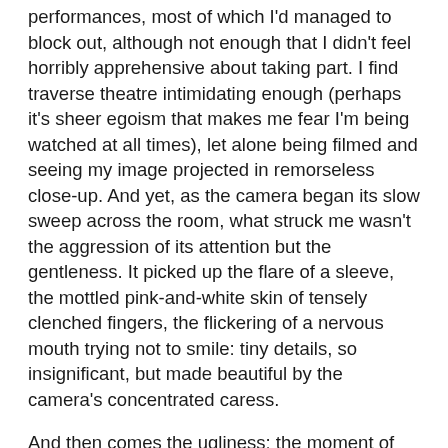performances, most of which I'd managed to block out, although not enough that I didn't feel horribly apprehensive about taking part. I find traverse theatre intimidating enough (perhaps it's sheer egoism that makes me fear I'm being watched at all times), let alone being filmed and seeing my image projected in remorseless close-up. And yet, as the camera began its slow sweep across the room, what struck me wasn't the aggression of its attention but the gentleness. It picked up the flare of a sleeve, the mottled pink-and-white skin of tensely clenched fingers, the flickering of a nervous mouth trying not to smile: tiny details, so insignificant, but made beautiful by the camera's concentrated caress.
And then comes the ugliness: the moment of division. The camera is trained on a young woman sitting near the front, someone radiant yet unobtrusive – unlike the raucous women sitting at the other end of her row, pretty but brash, noisily laughing – and one of the performers begins verbally abusing her. It's astonishingly uncomfortable, but electrifying too, at least on the night I saw it, because barely had the abuse begun when a man sitting behind me stood up and hurled a boot at the performer, with an aim almost true. As others in the audience began to clamour for the performer to